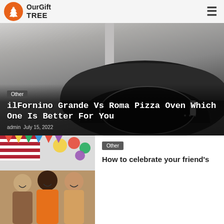OurGift TREE
[Figure (photo): Pizza oven (ilFornino Grande or Roma) with stainless steel chimney, black dome, displayed against a grey gradient background]
Other
ilFornino Grande Vs Roma Pizza Oven Which One Is Better For You
admin  July 15, 2022
[Figure (photo): Group of young people laughing and celebrating at a party with colorful decorations and an American flag in the background]
Other
How to celebrate your friend's